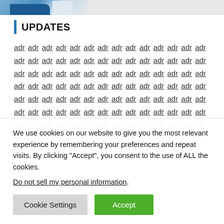[Figure (photo): Partial photo strip showing what appears to be a person in sports attire, cropped at top of page]
UPDATES
adr adr adr adr adr adr adr adr adr adr adr adr adr adr adr adr adr adr adr adr adr adr adr adr adr adr adr adr adr adr adr adr adr adr adr adr adr adr adr adr adr adr adr adr adr adr adr adr adr adr adr adr adr adr adr adr adr adr adr adr adr adr adr adr adr adr adr adr adr adr adr adr adr adr adr adr adr adr adr adr adr adr adr adr adr adr adr adr adr adr adr adr adr adr adr adr adr adr
We use cookies on our website to give you the most relevant experience by remembering your preferences and repeat visits. By clicking “Accept”, you consent to the use of ALL the cookies.
Do not sell my personal information.